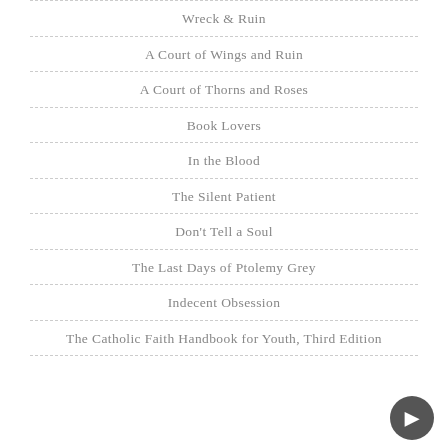Wreck & Ruin
A Court of Wings and Ruin
A Court of Thorns and Roses
Book Lovers
In the Blood
The Silent Patient
Don't Tell a Soul
The Last Days of Ptolemy Grey
Indecent Obsession
The Catholic Faith Handbook for Youth, Third Edition